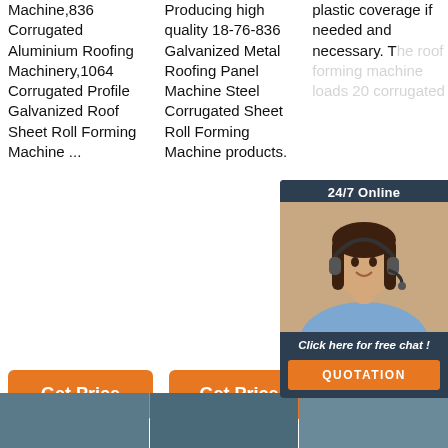Machine,836 Corrugated Aluminium Roofing Machinery,1064 Corrugated Profile Galvanized Roof Sheet Roll Forming Machine ...
Producing high quality 18-76-836 Galvanized Metal Roofing Panel Machine Steel Corrugated Sheet Roll Forming Machine products.
plastic coverage if needed and necessary. The roof forming machine loads 20 corrugated...
[Figure (infographic): 24/7 Online customer service chat widget with a woman wearing a headset, a 'Click here for free chat!' message, and an orange QUOTATION button]
Get Price
Get Price
[Figure (logo): Orange dotted triangle TOP logo]
[Figure (photo): Thumbnail images of machinery at the bottom of the page]